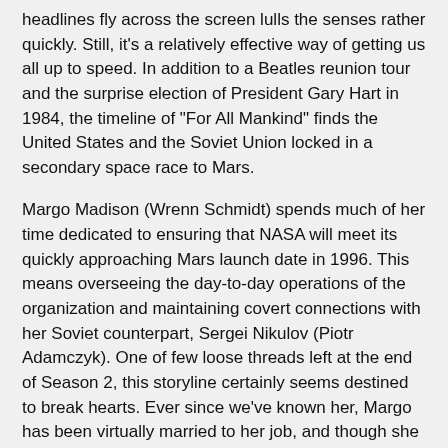headlines fly across the screen lulls the senses rather quickly. Still, it's a relatively effective way of getting us all up to speed. In addition to a Beatles reunion tour and the surprise election of President Gary Hart in 1984, the timeline of "For All Mankind" finds the United States and the Soviet Union locked in a secondary space race to Mars.
Margo Madison (Wrenn Schmidt) spends much of her time dedicated to ensuring that NASA will meet its quickly approaching Mars launch date in 1996. This means overseeing the day-to-day operations of the organization and maintaining covert connections with her Soviet counterpart, Sergei Nikulov (Piotr Adamczyk). One of few loose threads left at the end of Season 2, this storyline certainly seems destined to break hearts. Ever since we've known her, Margo has been virtually married to her job, and though she seems tempted to try something outside of her comfort zone, it's likely going to come with a cost. Like many character arcs throughout Season 2, Sergei's story seems like one that will be a slow burn. Unfortunately, it has been noted that Margo can be a bit of a social oddball, and there are definite hints that this story could eventually hurt Margo in a big way. Let's just hope it doesn't suddenly make one of this show's